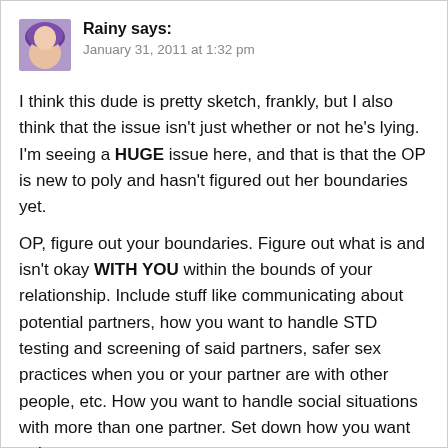[Figure (photo): Small avatar photo of a person with purple/blue hair]
Rainy says:
January 31, 2011 at 1:32 pm
I think this dude is pretty sketch, frankly, but I also think that the issue isn't just whether or not he's lying. I'm seeing a HUGE issue here, and that is that the OP is new to poly and hasn't figured out her boundaries yet.

OP, figure out your boundaries. Figure out what is and isn't okay WITH YOU within the bounds of your relationship. Include stuff like communicating about potential partners, how you want to handle STD testing and screening of said partners, safer sex practices when you or your partner are with other people, etc. How you want to handle social situations with more than one partner. Set down how you want to be